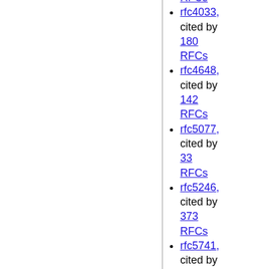RFCs
rfc4033, cited by 180 RFCs
rfc4648, cited by 142 RFCs
rfc5077, cited by 33 RFCs
rfc5246, cited by 373 RFCs
rfc5741, cited by 2136 RFCs
rfc6234, cited by 57 RFCs
rfc6335, cited by 43 RFCs